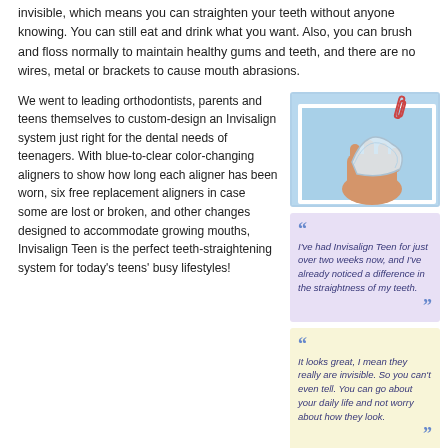invisible, which means you can straighten your teeth without anyone knowing. You can still eat and drink what you want. Also, you can brush and floss normally to maintain healthy gums and teeth, and there are no wires, metal or brackets to cause mouth abrasions.
We went to leading orthodontists, parents and teens themselves to custom-design an Invisalign system just right for the dental needs of teenagers. With blue-to-clear color-changing aligners to show how long each aligner has been worn, six free replacement aligners in case some are lost or broken, and other changes designed to accommodate growing mouths, Invisalign Teen is the perfect teeth-straightening system for today's teens' busy lifestyles!
[Figure (photo): Photo of a clear dental aligner/retainer being held by a hand against a blue background, shown in a polaroid-style frame with a paperclip.]
I've had Invisalign Teen for just over two weeks now, and I've already noticed a difference in the straightness of my teeth.
It looks great, I mean they really are invisible. So you can't even tell. You can go about your daily life and not worry about how they look.
What is Invisalign Teen?
Invisible way to straighten your teeth without braces.
Series of clear, removable, custom-made aligners.
Uses no metal wires or brackets.